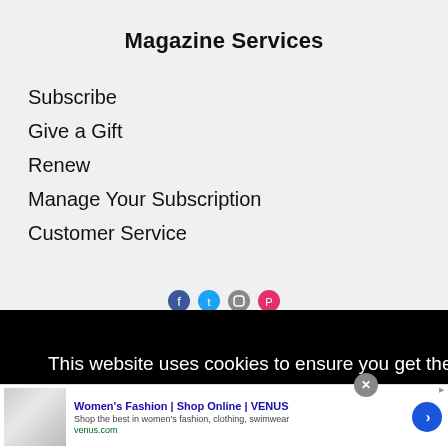Magazine Services
Subscribe
Give a Gift
Renew
Manage Your Subscription
Customer Service
This website uses cookies to ensure you get the best experience on our website. Learn More
Women's Fashion | Shop Online | VENUS
Shop the best in women's fashion, clothing, swimwear
venus.com